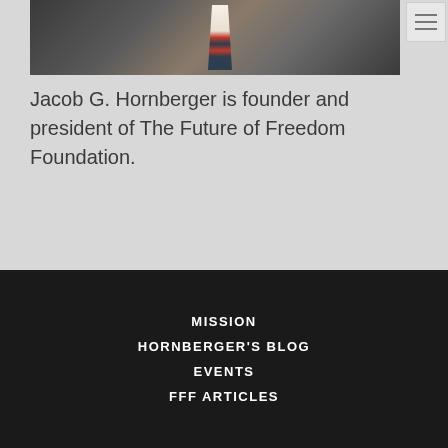[Figure (photo): Partial photo of a man in a dark suit and tie (Jacob G. Hornberger), cropped at the top of the page]
Jacob G. Hornberger is founder and president of The Future of Freedom Foundation.
MISSION
HORNBERGER'S BLOG
EVENTS
FFF ARTICLES